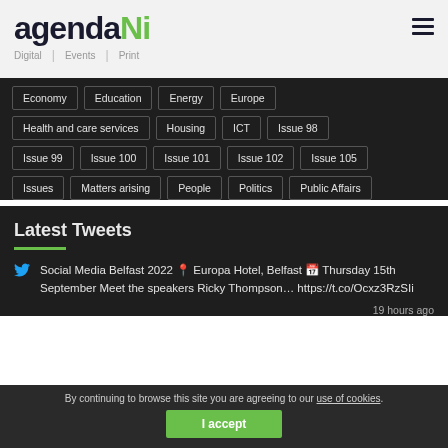agendaNi — Digital | Events | Print
Economy
Education
Energy
Europe
Health and care services
Housing
ICT
Issue 98
Issue 99
Issue 100
Issue 101
Issue 102
Issue 105
Issues
Matters arising
People
Politics
Public Affairs
Latest Tweets
Social Media Belfast 2022 📍 Europa Hotel, Belfast 📅 Thursday 15th September Meet the speakers Ricky Thompson… https://t.co/Ocxz3RzSIi
19 hours ago
By continuing to browse this site you are agreeing to our use of cookies.